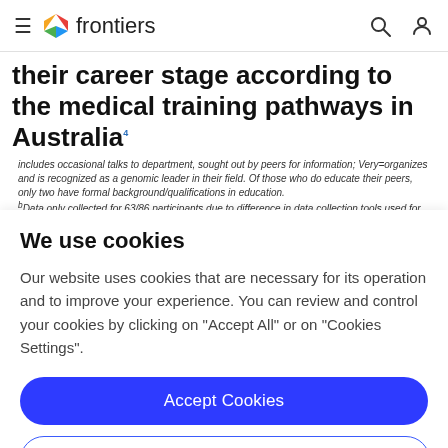frontiers
their career stage according to the medical training pathways in Australia
includes occasional talks to department, sought out by peers for information; Very=organizes and is recognized as a genomic leader in their field. Of those who do educate their peers, only two have formal background/qualifications in education. ᵇData only collected for 63/86 participants due to difference in data collection tools used for early cohorts; some of these participants are also listed as educating their peers.
Early – junior medical officer who is in their pre-fellowship training years which includes being an intern
We use cookies
Our website uses cookies that are necessary for its operation and to improve your experience. You can review and control your cookies by clicking on "Accept All" or on "Cookies Settings".
Accept Cookies
Cookies Settings